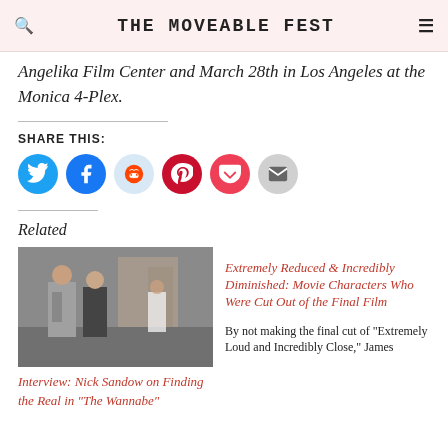THE MOVEABLE FEST
Angelika Film Center and March 28th in Los Angeles at the Monica 4-Plex.
SHARE THIS:
[Figure (infographic): Social share buttons: Twitter (blue), Facebook (blue), Reddit (light blue), Pinterest (red), Pocket (red), Email (gray)]
Related
[Figure (photo): Photo of two people walking on a street, a man in a suit and a woman in dark clothing, with another person in background]
Interview: Nick Sandow on Finding the Real in “The Wannabe”
Extremely Reduced & Incredibly Diminished: Movie Characters Who Were Cut Out of the Final Film
By not making the final cut of “Extremely Loud and Incredibly Close,” James